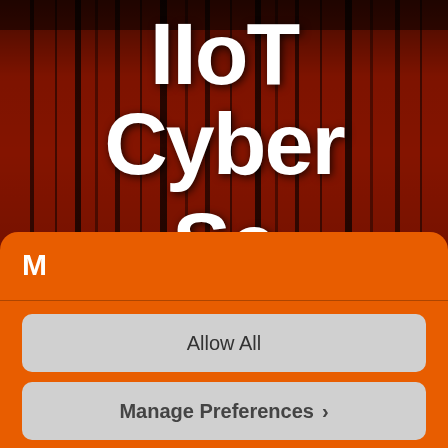[Figure (screenshot): Dark red and black background with vertical streaks/glitch effect, showing white bold text: 'IIoT' on top line, 'Cyber' on second line, and partial third line text. This appears to be a cover or header image for an IIoT Cyber Security publication.]
M
Allow All
Manage Preferences >